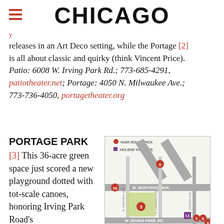CHICAGO
releases in an Art Deco setting, while the Portage [2] is all about classic and quirky (think Vincent Price). Patio: 6008 W. Irving Park Rd.; 773-685-4291, patiotheater.net; Portage: 4050 N. Milwaukee Ave.; 773-736-4050, portagetheater.org
PORTAGE PARK
[3] This 36-acre green space just scored a new playground dotted with tot-scale canoes, honoring Irving Park Road's
[Figure (map): Street map showing numbered location markers (2, 3, 6, 8, 9, 10, 11) in the Portage Park neighborhood of Chicago. Streets shown include W. Montrose Ave., W. Irving Park Rd., N. Central Ave., N. Laramie Ave., N. Cicero Ave. Legend shows Year-Round Pick (red circle) and Holiday Favorite (purple square).]